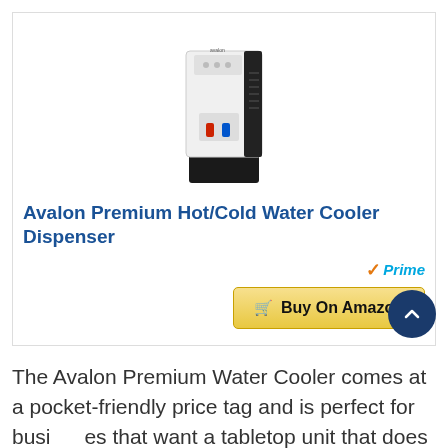[Figure (photo): Photo of Avalon Premium Hot/Cold Water Cooler Dispenser — white and black tabletop unit with red and blue dispensing levers]
Avalon Premium Hot/Cold Water Cooler Dispenser
[Figure (logo): Amazon Prime badge with orange checkmark and 'Prime' in teal italic text, followed by a gold 'Buy On Amazon' button with a cart icon]
The Avalon Premium Water Cooler comes at a pocket-friendly price tag and is perfect for businesses that want a tabletop unit that does not take up too much room.
The unit has two water dispensers one for cool